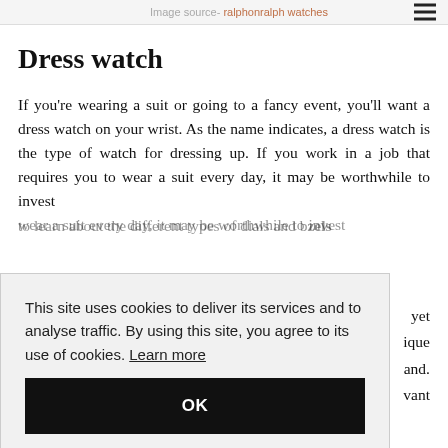Image source- ralphonralph watches
Dress watch
If you're wearing a suit or going to a fancy event, you'll want a dress watch on your wrist. As the name indicates, a dress watch is the type of watch for dressing up. If you work in a job that requires you to wear a suit every day, it may be worthwhile to invest
This site uses cookies to deliver its services and to analyse traffic. By using this site, you agree to its use of cookies. Learn more
OK
yet ique and. vant zels